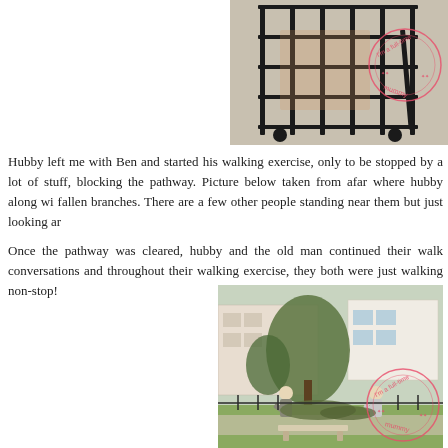[Figure (photo): Close-up photo of a black metal wire cage/trolley on a concrete surface, with a watermark reading 'I'm a full-time mummy' in a circular stamp.]
Hubby left me with Ben and started his walking exercise, only to be stopped by a lot of stuff, blocking the pathway. Picture below taken from afar where hubby along wi fallen branches. There are a few other people standing near them but just looking ar
Once the pathway was cleared, hubby and the old man continued their walk conversations and throughout their walking exercise, they both were just walking non-stop!
[Figure (photo): Photo taken from afar showing people clearing fallen branches on a pathway, with apartment buildings and trees in the background. A watermark reading 'I'm a full-time mummy' is visible in the lower right corner.]